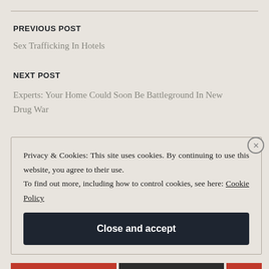PREVIOUS POST
Sex Trafficking In Hotels
NEXT POST
Experts: Your Home Could Soon Be Battleground In New Drug War
Privacy & Cookies: This site uses cookies. By continuing to use this website, you agree to their use.
To find out more, including how to control cookies, see here: Cookie Policy
Close and accept